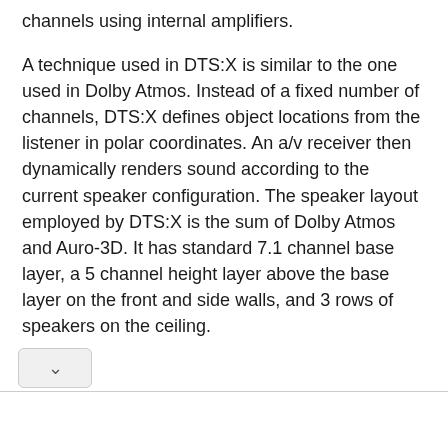channels using internal amplifiers.
A technique used in DTS:X is similar to the one used in Dolby Atmos. Instead of a fixed number of channels, DTS:X defines object locations from the listener in polar coordinates. An a/v receiver then dynamically renders sound according to the current speaker configuration. The speaker layout employed by DTS:X is the sum of Dolby Atmos and Auro-3D. It has standard 7.1 channel base layer, a 5 channel height layer above the base layer on the front and side walls, and 3 rows of speakers on the ceiling.